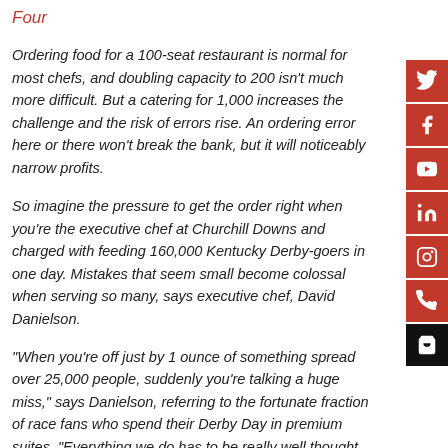Four
Ordering food for a 100-seat restaurant is normal for most chefs, and doubling capacity to 200 isn't much more difficult. But a catering for 1,000 increases the challenge and the risk of errors rise. An ordering error here or there won't break the bank, but it will noticeably narrow profits.
So imagine the pressure to get the order right when you're the executive chef at Churchill Downs and charged with feeding 160,000 Kentucky Derby-goers in one day. Mistakes that seem small become colossal when serving so many, says executive chef, David Danielson.
“When you’re off just by 1 ounce of something spread over 25,000 people, suddenly you’re talking a huge miss,” says Danielson, referring to the fortunate fraction of race fans who spend their Derby Day in premium suites. “Everything we do has to be really well thought out or we’re in trouble.”